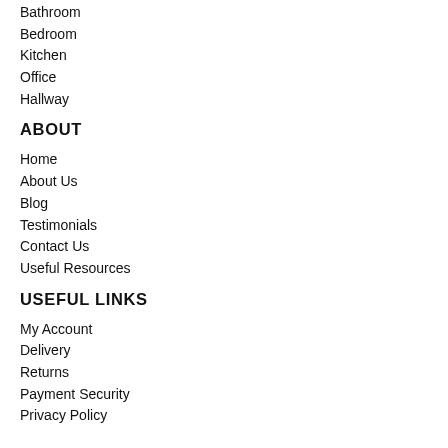Bathroom
Bedroom
Kitchen
Office
Hallway
ABOUT
Home
About Us
Blog
Testimonials
Contact Us
Useful Resources
USEFUL LINKS
My Account
Delivery
Returns
Payment Security
Privacy Policy